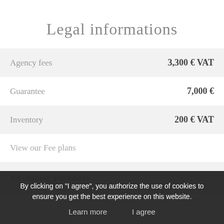Legal informations
| Item | Amount |
| --- | --- |
| Agency fees | 3,300 € VAT |
| Guarantee | 7,000 € |
| Inventory | 200 € VAT |
View our Fee plans
No ongoing procedures
By clicking on "I agree", you authorize the use of cookies to ensure you get the best experience on this website.
Learn more    I agree